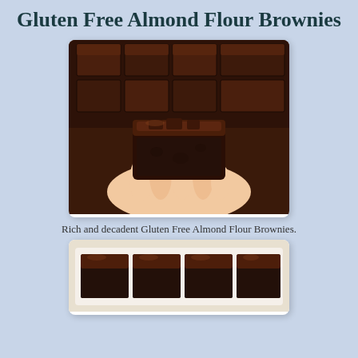Gluten Free Almond Flour Brownies
[Figure (photo): A hand holding a chocolate brownie with glossy chocolate frosting, with a tray of more brownies in the background.]
Rich and decadent Gluten Free Almond Flour Brownies.
[Figure (photo): A white tray with chocolate brownies covered in glossy chocolate frosting, cut into squares.]